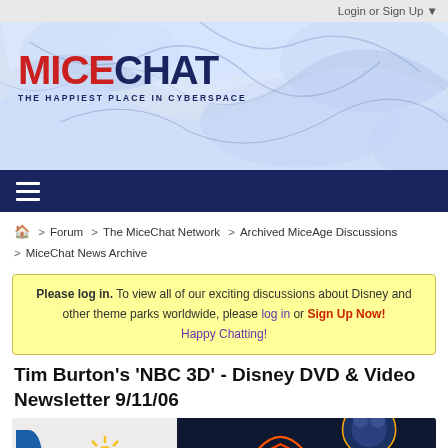Login or Sign Up ▼
[Figure (logo): MiceChat logo banner with blue marbled background. Red 'MICE' and dark blue 'CHAT' text. Tagline: THE HAPPIEST PLACE IN CYBERSPACE]
≡ (hamburger menu icon)
Forum > The MiceChat Network > Archived MiceAge Discussions > MiceChat News Archive
Please log in. To view all of our exciting discussions about Disney and other theme parks worldwide, please log in or Sign Up Now! Happy Chatting!
Tim Burton's 'NBC 3D' - Disney DVD & Video Newsletter 9/11/06
[Figure (photo): Get Away Today advertisement banner. Left side white background with blue D logo and sunshine graphic and 'Get Away Today' text. Right side dark with theme park night photo and yellow 'DISCOUNT THEME PARK TICKETS' label.]